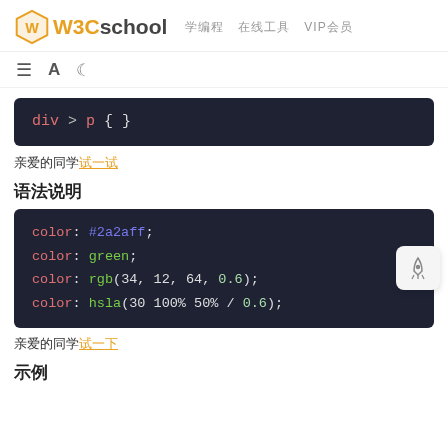W3Cschool 学编程 在线工具 VIP会员
[Figure (screenshot): Toolbar with menu, font, and moon/theme icons]
[Figure (screenshot): Dark code block showing: div > p { }]
亲爱的同学试一试
语法说明
[Figure (screenshot): Dark code block showing CSS color examples: color: #2a2aff; color: green; color: rgb(34, 12, 64, 0.6); color: hsla(30 100% 50% / 0.6);]
亲爱的同学试一下
示例